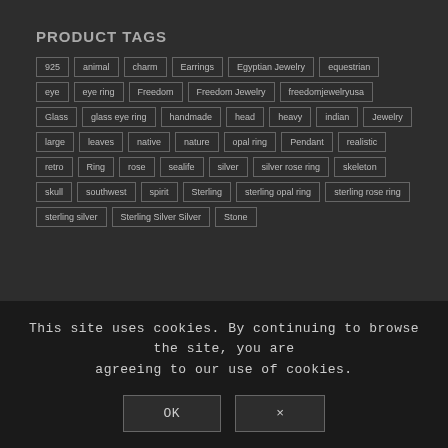PRODUCT TAGS
925
animal
charm
Earrings
Egyptian Jewelry
equestrian
eye
eye ring
Freedom
Freedom Jewelry
freedomjewelryusa
Glass
glass eye ring
handmade
head
heavy
indian
Jewelry
large
leaves
native
nature
opal ring
Pendant
realistic
retro
Ring
rose
sealife
silver
silver rose ring
skeleton
skull
southwest
spirit
Sterling
sterling opal ring
sterling rose ring
sterling silver
Sterling Silver Silver
Stone
thelacefan
Turquoise
vintage
wildlife
This site uses cookies. By continuing to browse the site, you are agreeing to our use of cookies.